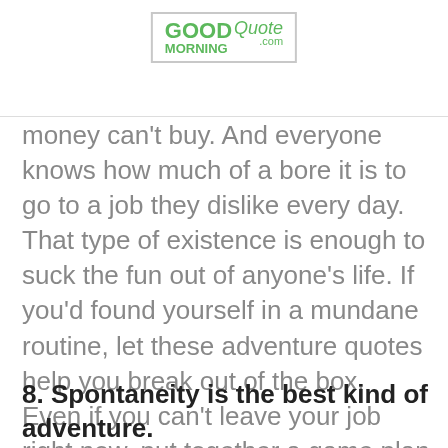[Figure (logo): GoodMorningQuote.com logo in green with a bordered box]
money can't buy. And everyone knows how much of a bore it is to go to a job they dislike every day. That type of existence is enough to suck the fun out of anyone's life. If you'd found yourself in a mundane routine, let these adventure quotes help you break out of the box. Even if you can't leave your job right now, put together a game plan that will help you escape the rat race once and for all!
8. Spontaneity is the best kind of adventure.